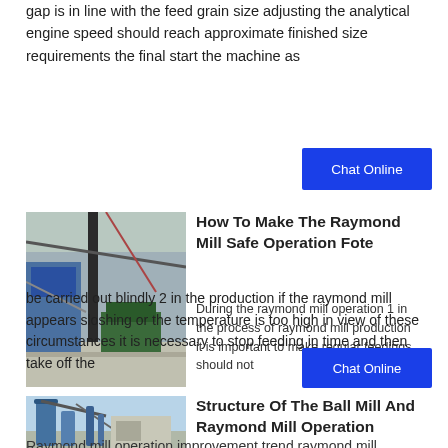gap is in line with the feed grain size adjusting the analytical engine speed should reach approximate finished size requirements the final start the machine as
[Figure (other): Blue Chat Online button]
[Figure (photo): Industrial raymond mill machinery interior photo]
How To Make The Raymond Mill Safe Operation Fote
During the raymond mill operation 1 in the process of raymond mill production it is important to make regular feedings should not be carried out blindly 2 in the production if the raymond mill appears sloshing or the temperature is too high in view of these circumstances it is necessary to stop feeding in time and then take off the
[Figure (other): Blue Chat Online button]
[Figure (photo): Industrial ball mill and raymond mill exterior photo with blue equipment]
Structure Of The Ball Mill And Raymond Mill Operation
Raymond mill operation improvement trend raymond mill powder industry will be mainly to